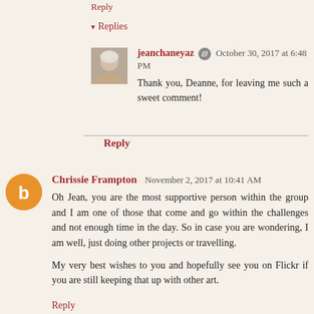Reply
▾ Replies
jeanchaneyaz  October 30, 2017 at 6:48 PM
Thank you, Deanne, for leaving me such a sweet comment!
Reply
Chrissie Frampton  November 2, 2017 at 10:41 AM
Oh Jean, you are the most supportive person within the group and I am one of those that come and go within the challenges and not enough time in the day. So in case you are wondering, I am well, just doing other projects or travelling.

My very best wishes to you and hopefully see you on Flickr if you are still keeping that up with other art.
Reply